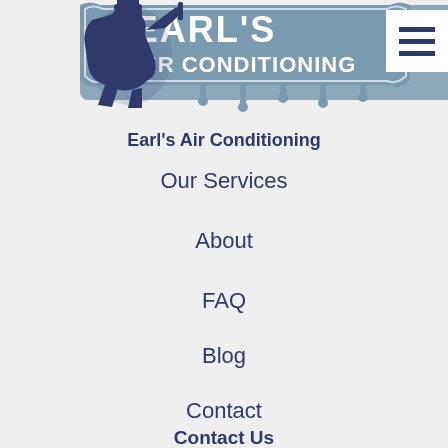[Figure (logo): Earl's Air Conditioning logo with cartoon technician figure and blue banner reading EARL'S AIR CONDITIONING]
Earl's Air Conditioning
Our Services
About
FAQ
Blog
Contact
Contact Us